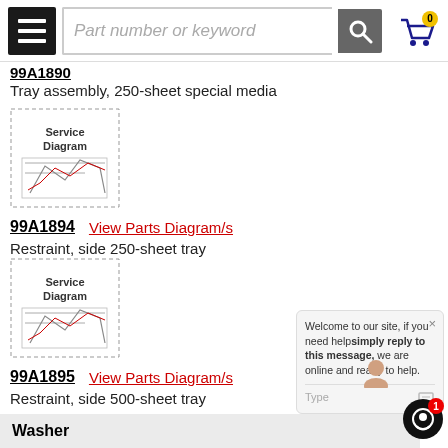Part number or keyword [search bar]
99A1890
Tray assembly, 250-sheet special media
[Figure (schematic): Service Diagram thumbnail for part 99A1894]
99A1894   View Parts Diagram/s
Restraint, side 250-sheet tray
[Figure (schematic): Service Diagram thumbnail for part 99A1895]
99A1895   View Parts Diagram/s
Restraint, side 500-sheet tray
Washer
[Figure (schematic): Service Diagram thumbnail for part 99A0452]
99A0452   View Parts Diagram/s
Washer, Mounting